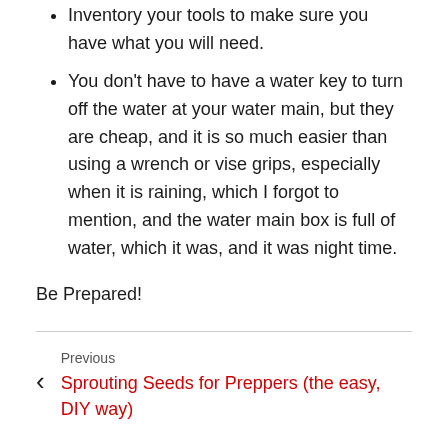Inventory your tools to make sure you have what you will need.
You don't have to have a water key to turn off the water at your water main, but they are cheap, and it is so much easier than using a wrench or vise grips, especially when it is raining, which I forgot to mention, and the water main box is full of water, which it was, and it was night time.
Be Prepared!
Previous
Sprouting Seeds for Preppers (the easy, DIY way)